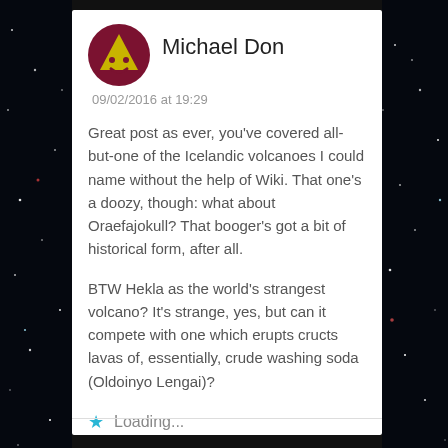[Figure (illustration): Dark starfield background with scattered white and colored light dots]
[Figure (logo): Circular dark red avatar with a yellow-green triangle/illuminati symbol and a smiley face]
Michael Don
09/02/2016 at 19:29
Great post as ever, you've covered all-but-one of the Icelandic volcanoes I could name without the help of Wiki. That one's a doozy, though: what about Oraefajokull? That booger's got a bit of historical form, after all.
BTW Hekla as the world's strangest volcano? It's strange, yes, but can it compete with one which erupts crupts lavas of, essentially, crude washing soda (Oldoinyo Lengai)?
Loading...